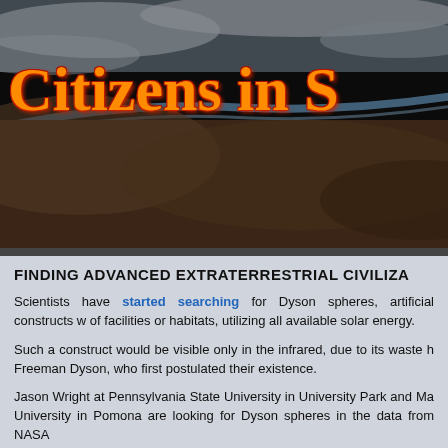[Figure (photo): Banner image showing Earth from space with black background overlay and 'Citizens in S[pace]' text in orange serif font with red shadow/glow effect]
FINDING ADVANCED EXTRATERRESTRIAL CIVILIZA[TIONS]
Scientists have started searching for Dyson spheres, artificial constructs w[ould consist] of facilities or habitats, utilizing all available solar energy.
Such a construct would be visible only in the infrared, due to its waste h[eat, named after] Freeman Dyson, who first postulated their existence.
Jason Wright at Pennsylvania State University in University Park and Ma[rc Kuchner at] University in Pomona are looking for Dyson spheres in the data from NASA['s WISE satellite].